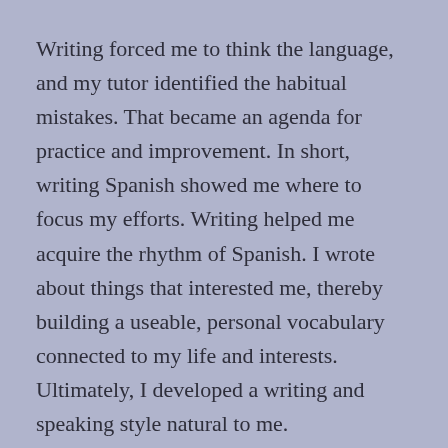Writing forced me to think the language, and my tutor identified the habitual mistakes. That became an agenda for practice and improvement. In short, writing Spanish showed me where to focus my efforts. Writing helped me acquire the rhythm of Spanish. I wrote about things that interested me, thereby building a useable, personal vocabulary connected to my life and interests. Ultimately, I developed a writing and speaking style natural to me.
I habitually wrote English in an emotionally restrained style sometimes bordered on terseness. When I wrote in Spanish, however, I was surprised to discover my natural style was more emotional and affective than in English.